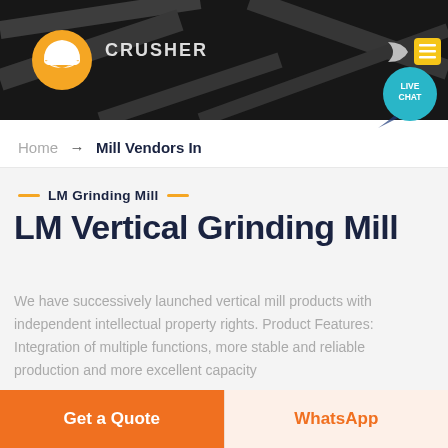[Figure (screenshot): Website header with dark industrial background showing crusher machinery, orange logo with hard hat icon, site name, moon/dark mode icon, and yellow hamburger menu button]
[Figure (infographic): Teal live chat bubble with speech tail in top right corner of header]
Home → Mill Vendors In
LM Grinding Mill
LM Vertical Grinding Mill
We have successively launched vertical mill products with independent intellectual property rights. Product Features: Integration of multiple functions, more stable and reliable production and more excellent capacity
Get a Quote
WhatsApp